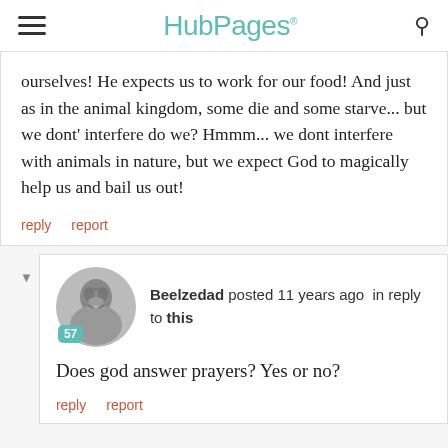HubPages
ourselves! He expects us to work for our food! And just as in the animal kingdom, some die and some starve... but we dont' interfere do we? Hmmm... we dont interfere with animals in nature, but we expect God to magically help us and bail us out!
reply   report
Beelzedad posted 11 years ago in reply to this
Does god answer prayers? Yes or no?
reply   report